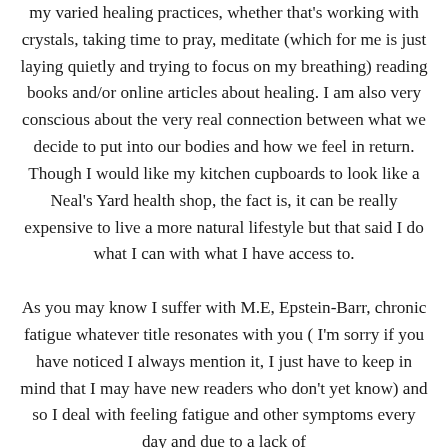my varied healing practices, whether that's working with crystals, taking time to pray, meditate (which for me is just laying quietly and trying to focus on my breathing) reading books and/or online articles about healing. I am also very conscious about the very real connection between what we decide to put into our bodies and how we feel in return. Though I would like my kitchen cupboards to look like a Neal's Yard health shop, the fact is, it can be really expensive to live a more natural lifestyle but that said I do what I can with what I have access to.

As you may know I suffer with M.E, Epstein-Barr, chronic fatigue whatever title resonates with you ( I'm sorry if you have noticed I always mention it, I just have to keep in mind that I may have new readers who don't yet know) and so I deal with feeling fatigue and other symptoms every day and due to a lack of